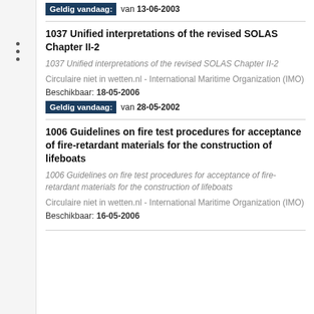Geldig vandaag: van 13-06-2003
1037 Unified interpretations of the revised SOLAS Chapter II-2
1037 Unified interpretations of the revised SOLAS Chapter II-2
Circulaire niet in wetten.nl - International Maritime Organization (IMO)
Beschikbaar: 18-05-2006
Geldig vandaag: van 28-05-2002
1006 Guidelines on fire test procedures for acceptance of fire-retardant materials for the construction of lifeboats
1006 Guidelines on fire test procedures for acceptance of fire-retardant materials for the construction of lifeboats
Circulaire niet in wetten.nl - International Maritime Organization (IMO)
Beschikbaar: 16-05-2006